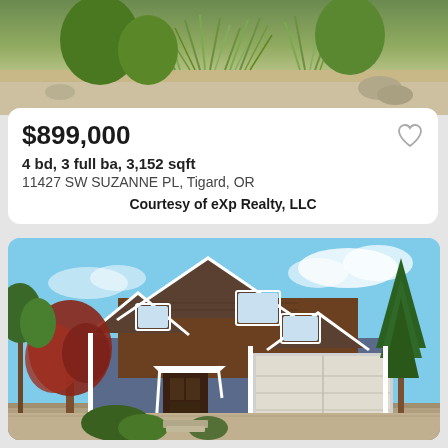[Figure (photo): Top portion of a landscaped garden with ornamental grasses and rocks]
$899,000
4 bd, 3 full ba, 3,152 sqft
11427 SW SUZANNE PL, Tigard, OR
Courtesy of eXp Realty, LLC
[Figure (photo): Two-story craftsman-style home with dark brown shingle siding, blue lower level, white trim, large garage, red Japanese maple tree, and tall evergreen trees under blue sky]